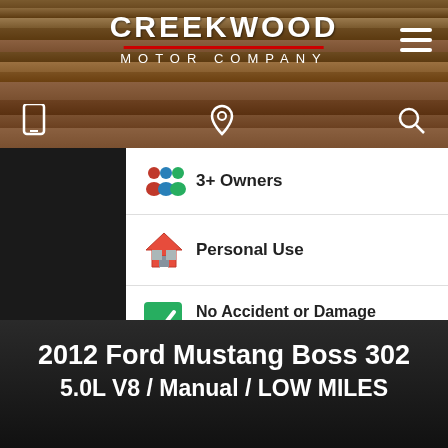[Figure (screenshot): Creekwood Motor Company website header with wood texture background, logo, and navigation icons]
3+ Owners
Personal Use
No Accident or Damage Reported
16 Service History Records
[Figure (logo): Show Me The Carfax logo]
2012 Ford Mustang Boss 302
5.0L V8 / Manual / LOW MILES